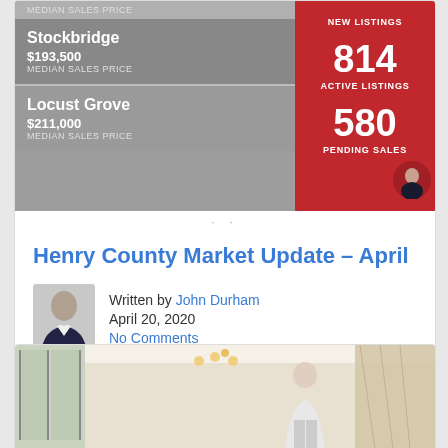[Figure (infographic): Real estate market infographic showing two area listings with median sales prices on grey background, and stats (814 Active Listings, 580 Pending Sales) on red background]
Henry County Market Update – April
Written by John Durham
April 20, 2020
No Comments
[Figure (photo): Interior photo of a room with chandelier and a person standing]